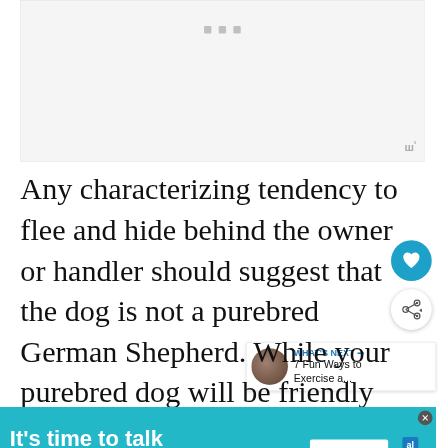[Figure (other): Advertisement placeholder / loading area with three gray dots indicator and a watermark logo in top right]
Any characterizing tendency to flee and hide behind the owner or handler should suggest that the dog is not a purebred German Shepherd. While your purebred dog will be friendly and loyal to you, it will show some aloofness towards strangers without, however, being aggressive or showing a lack of confidence.
All these features of a confident German S[hepherd... are typical]
[Figure (other): Advertisement banner: 'It's time to talk about Alzheimer's.' with a LEARN MORE button and the Alzheimer's Association logo]